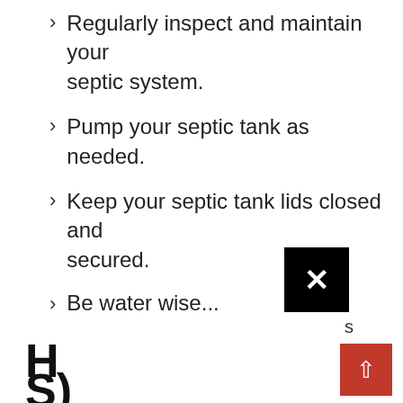Regularly inspect and maintain your septic system.
Pump your septic tank as needed.
Keep your septic tank lids closed and secured.
Be water wise...
H
S)